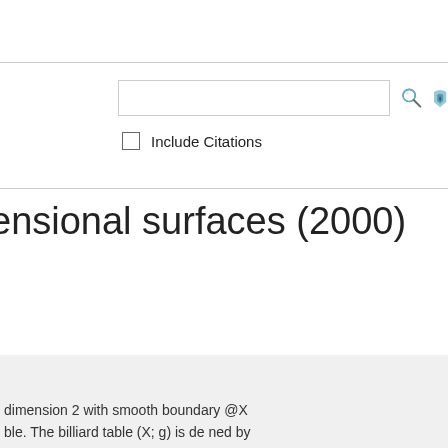[Figure (screenshot): Search bar with magnifying glass icon and RSS/alert icon]
Include Citations
Advanced Search
ensional surfaces (2000)
Tools
Sorted by:
Citation Count
dimension 2 with smooth boundary @X able. The billiard table (X; g) is de ned by